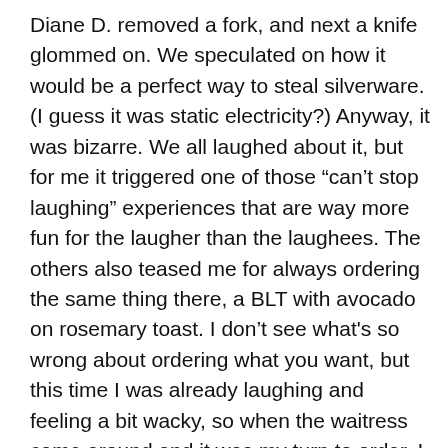Diane D. removed a fork, and next a knife glommed on. We speculated on how it would be a perfect way to steal silverware. (I guess it was static electricity?) Anyway, it was bizarre. We all laughed about it, but for me it triggered one of those “can’t stop laughing” experiences that are way more fun for the laugher than the laughees. The others also teased me for always ordering the same thing there, a BLT with avocado on rosemary toast. I don’t see what's so wrong about ordering what you want, but this time I was already laughing and feeling a bit wacky, so when the waitress came around and it was my turn to order, I said (through tears of hysteria), “I’m going to try something new for a change.” I could hardly get the words out, I was laughing so hard. Then I ordered the same-old BLT with avocado, and for some reason I found this so funny, and of course no one else could see the humor in it,